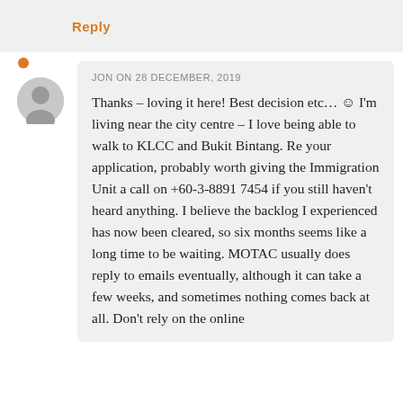Reply
JON ON 28 DECEMBER, 2019
Thanks – loving it here! Best decision etc… ☺ I'm living near the city centre – I love being able to walk to KLCC and Bukit Bintang. Re your application, probably worth giving the Immigration Unit a call on +60-3-8891 7454 if you still haven't heard anything. I believe the backlog I experienced has now been cleared, so six months seems like a long time to be waiting. MOTAC usually does reply to emails eventually, although it can take a few weeks, and sometimes nothing comes back at all. Don't rely on the online